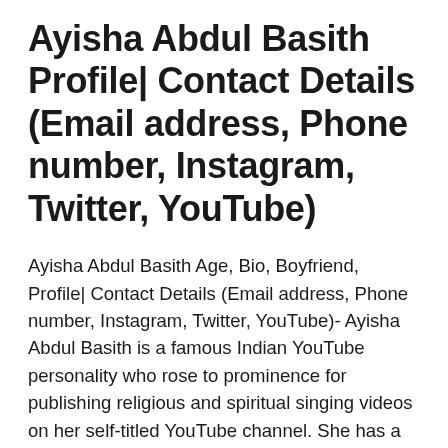Ayisha Abdul Basith Profile| Contact Details (Email address, Phone number, Instagram, Twitter, YouTube)
Ayisha Abdul Basith Age, Bio, Boyfriend, Profile| Contact Details (Email address, Phone number, Instagram, Twitter, YouTube)- Ayisha Abdul Basith is a famous Indian YouTube personality who rose to prominence for publishing religious and spiritual singing videos on her self-titled YouTube channel. She has a verified account on Instagram where she posts pictures or videos and has more than 221K followers. U...